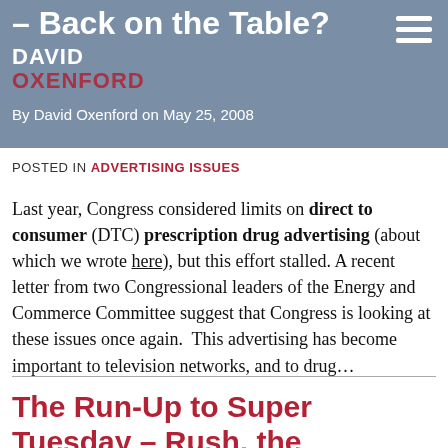– Back on the Table?
DAVID OXENFORD
By David Oxenford on May 25, 2008
POSTED IN ADVERTISING ISSUES
Last year, Congress considered limits on direct to consumer (DTC) prescription drug advertising (about which we wrote here), but this effort stalled. A recent letter from two Congressional leaders of the Energy and Commerce Committee suggest that Congress is looking at these issues once again. This advertising has become important to television networks, and to drug…
The Run-Up to Super Tuesday – Rush, the